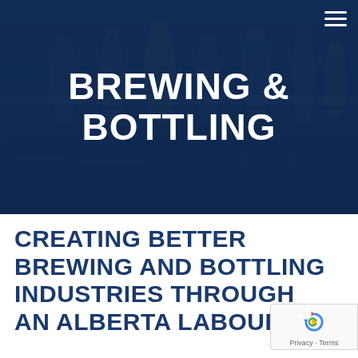[Figure (photo): Dark blue-tinted hero banner image showing a blurred brewery/bottling facility background with bottles visible]
BREWING & BOTTLING
CREATING BETTER BREWING AND BOTTLING INDUSTRIES THROUGH AN ALBERTA LABOUR